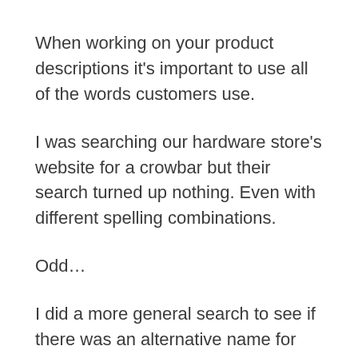When working on your product descriptions it's important to use all of the words customers use.
I was searching our hardware store's website for a crowbar but their search turned up nothing. Even with different spelling combinations.
Odd…
I did a more general search to see if there was an alternative name for them, Wikipedia's preview told me pry bar and wrecking bar.